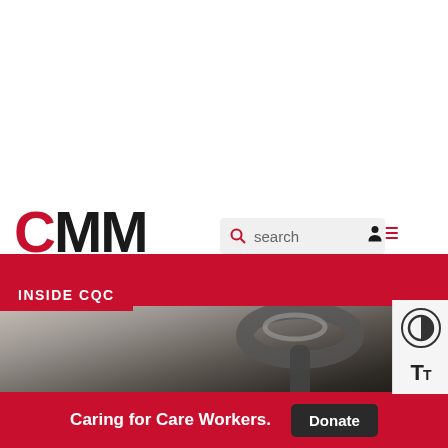[Figure (logo): CMM (Care Management Matters) logo with large red C and black MM letters, subtitle CAREMANAGEMENTMATTERS in white on black background]
[Figure (screenshot): Search bar with magnifying glass icon and placeholder text 'search' on light grey background]
[Figure (illustration): User profile icon (person silhouette) and hamburger menu icon in dark red]
INSIDE CQC
[Figure (photo): Close-up photo of a stethoscope on dark background with red clothing visible at top]
Caring for Care Workers.
Donate